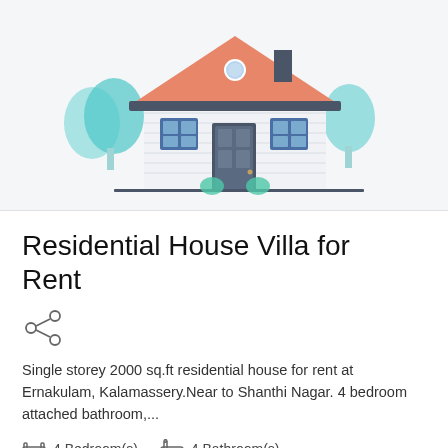[Figure (illustration): Cartoon illustration of a residential house with orange/salmon roof, white walls, blue windows and door, teal trees on either side, on a light grey background]
Residential House Villa for Rent
[Figure (other): Share icon (network/share symbol with three circles connected by lines)]
Single storey 2000 sq.ft residential house for rent at Ernakulam, Kalamassery.Near to Shanthi Nagar. 4 bedroom attached bathroom,...
4 Bedroom(s)   4 Bathroom(s)
Property ID
Posted On